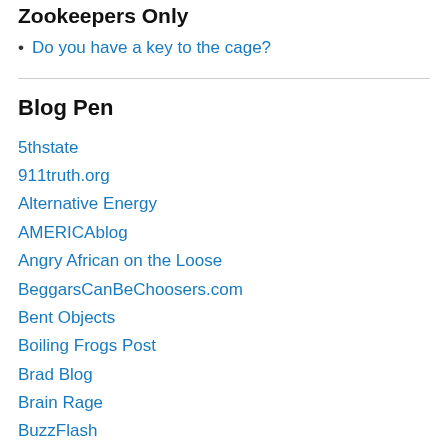Zookeepers Only
Do you have a key to the cage?
Blog Pen
5thstate
911truth.org
Alternative Energy
AMERICAblog
Angry African on the Loose
BeggarsCanBeChoosers.com
Bent Objects
Boiling Frogs Post
Brad Blog
Brain Rage
BuzzFlash
CheeseFlap's Haiku Site
CommonDreams Newscenter